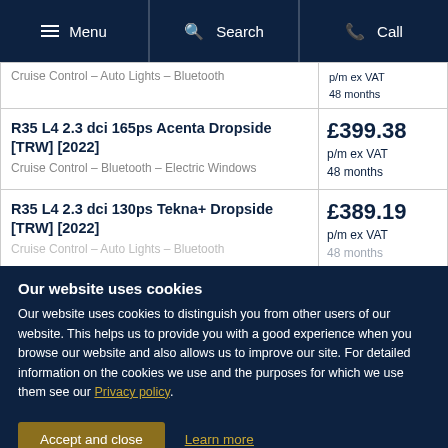Menu  Search  Call
| Vehicle | Price |
| --- | --- |
| Cruise Control – Auto Lights – Bluetooth | p/m ex VAT
48 months |
| R35 L4 2.3 dci 165ps Acenta Dropside [TRW] [2022]
Cruise Control – Bluetooth – Electric Windows | £399.38
p/m ex VAT
48 months |
| R35 L4 2.3 dci 130ps Tekna+ Dropside [TRW] [2022]
Cruise Control – Auto Lights – Bluetooth | £389.19
p/m ex VAT
48 months |
Our website uses cookies
Our website uses cookies to distinguish you from other users of our website. This helps us to provide you with a good experience when you browse our website and also allows us to improve our site. For detailed information on the cookies we use and the purposes for which we use them see our Privacy policy.
Accept and close  Learn more